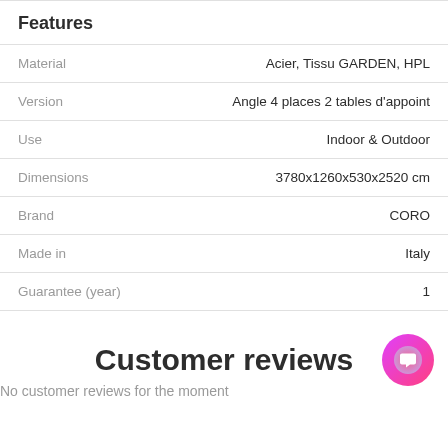Features
|  |  |
| --- | --- |
| Material | Acier, Tissu GARDEN, HPL |
| Version | Angle 4 places 2 tables d'appoint |
| Use | Indoor & Outdoor |
| Dimensions | 3780x1260x530x2520 cm |
| Brand | CORO |
| Made in | Italy |
| Guarantee (year) | 1 |
Customer reviews
No customer reviews for the moment